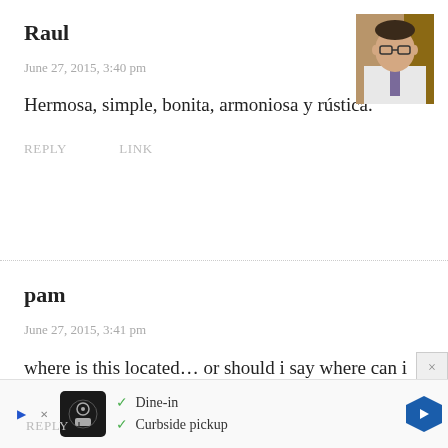Raul
June 27, 2015, 3:40 pm
Hermosa, simple, bonita, armoniosa y rústica.
REPLY   LINK
[Figure (photo): Profile photo of a man wearing glasses and a tie, light background]
pam
June 27, 2015, 3:41 pm
where is this located… or should i say where can i buy this
[Figure (screenshot): Advertisement banner showing Dine-in and Curbside pickup options with a restaurant icon and blue arrow navigation button]